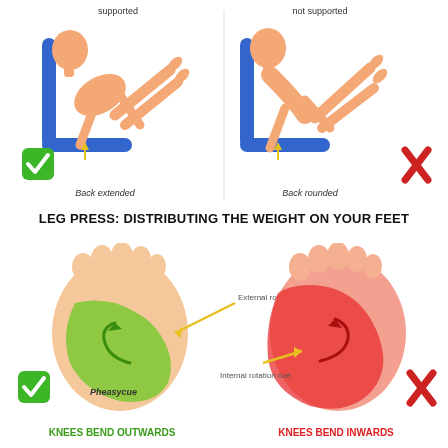[Figure (illustration): Two side-by-side illustrations of leg press exercise. Left: person with back extended (correct posture) shown with green checkmark. Right: person with back rounded (incorrect posture) shown with red X. Both figures show person on leg press machine with blue support pads. Labels: 'supported' (top left), 'not supported' (top right), 'Back extended' (bottom left), 'Back rounded' (bottom right).]
LEG PRESS: DISTRIBUTING THE WEIGHT ON YOUR FEET
[Figure (illustration): Two foot diagrams showing weight distribution during leg press. Left foot: green highlighted area showing correct external rotation cue with green checkmark and 'Knees bend outwards' label. Right foot: red highlighted area showing incorrect internal rotation cue with red X and 'Knees bend inwards' label. Arrows labeled 'External rotation cue' and 'Internal rotation cue'. Pheasycue logo on left foot.]
KNEES BEND OUTWARDS
KNEES BEND INWARDS